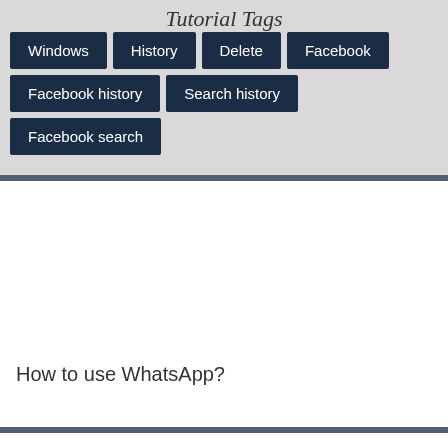Tutorial Tags
Windows
History
Delete
Facebook
Facebook history
Search history
Facebook search
[Figure (other): Advertisement or image placeholder area (white box)]
How to use WhatsApp?